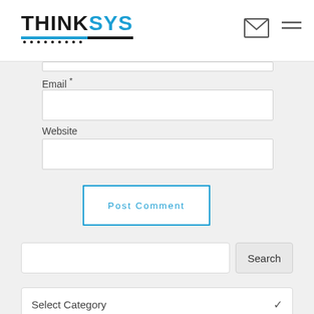THINKSYS
Email *
Website
Post Comment
Search
Select Category